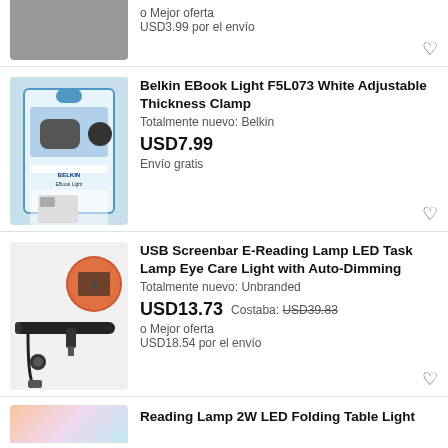[Figure (photo): Partial product image of a dark electronic accessory on a light surface]
o Mejor oferta
USD3.99 por el envío
[Figure (photo): Belkin EBook Light F5L073 in retail packaging with blue/white design]
Belkin EBook Light F5L073 White Adjustable Thickness Clamp
Totalmente nuevo: Belkin
USD7.99
Envío gratis
[Figure (photo): USB Screenbar E-Reading lamp, a long black bar with USB cable and circular inset photo of lamp on monitor]
USB Screenbar E-Reading Lamp LED Task Lamp Eye Care Light with Auto-Dimming
Totalmente nuevo: Unbranded
USD13.73  Costaba: USD39.83
o Mejor oferta
USD18.54 por el envío
[Figure (photo): Partial image of Reading Lamp 2W LED Folding Table Light]
Reading Lamp 2W LED Folding Table Light